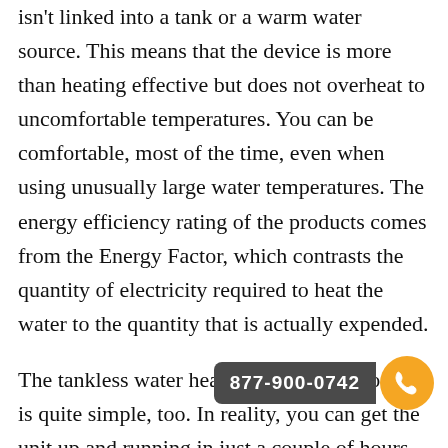isn't linked into a tank or a warm water source. This means that the device is more than heating effective but does not overheat to uncomfortable temperatures. You can be comfortable, most of the time, even when using unusually large water temperatures. The energy efficiency rating of the products comes from the Energy Factor, which contrasts the quantity of electricity required to heat the water to the quantity that is actually expended.
The tankless water heater installation process is quite simple, too. In reality, you can get the unit up and running in just a couple of hours, depending on how big the machine. The tankless heater components are available in all different shapes and dimensions, and they're made from plastic, stainless steel, copper, or aluminum. Some are solar en... and a few aren't. The solar models are the easiest set up and use, since you don't need to connect